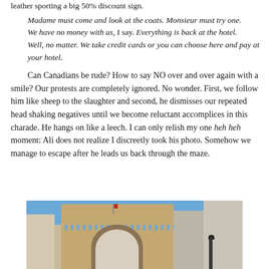leather sporting a big 50% discount sign.
Madame must come and look at the coats.  Monsieur must try one.
We have no money with us, I say. Everything is back at the hotel.
Well, no matter.  We take credit cards or you can choose here and pay at your hotel.
Can Canadians be rude? How to say NO over and over again with a smile?  Our protests are completely ignored.  No wonder. First, we follow him like sheep to the slaughter and second, he dismisses our repeated head shaking negatives until we become reluctant accomplices in this charade. He hangs on like a leech.  I can only relish my one heh heh moment: Ali does not realize I discreetly took his photo.  Somehow we manage to escape after he leads us back through the maze.
[Figure (photo): Photo of a historic stone gate/archway building with battlements along the top, blue sky visible, flanked by other buildings. A red flag is visible on a pole. Street lamps visible on the right side.]